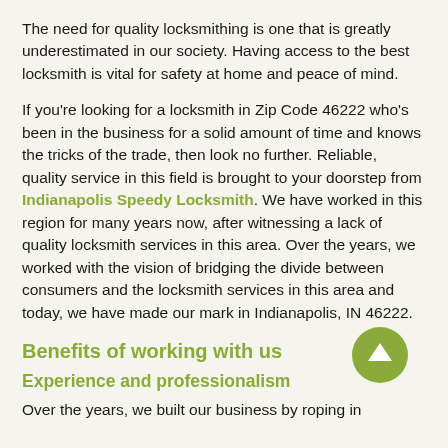The need for quality locksmithing is one that is greatly underestimated in our society. Having access to the best locksmith is vital for safety at home and peace of mind.
If you're looking for a locksmith in Zip Code 46222 who's been in the business for a solid amount of time and knows the tricks of the trade, then look no further. Reliable, quality service in this field is brought to your doorstep from Indianapolis Speedy Locksmith. We have worked in this region for many years now, after witnessing a lack of quality locksmith services in this area. Over the years, we worked with the vision of bridging the divide between consumers and the locksmith services in this area and today, we have made our mark in Indianapolis, IN 46222.
Benefits of working with us
Experience and professionalism
Over the years, we built our business by roping in